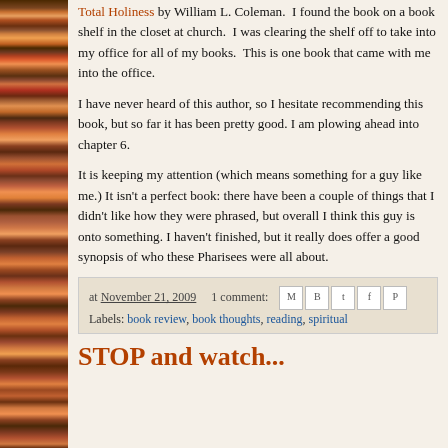Total Holiness by William L. Coleman. I found the book on a book shelf in the closet at church. I was clearing the shelf off to take into my office for all of my books. This is one book that came with me into the office.
I have never heard of this author, so I hesitate recommending this book, but so far it has been pretty good. I am plowing ahead into chapter 6.
It is keeping my attention (which means something for a guy like me.) It isn't a perfect book: there have been a couple of things that I didn't like how they were phrased, but overall I think this guy is onto something. I haven't finished, but it really does offer a good synopsis of who these Pharisees were all about.
at November 21, 2009  1 comment:
Labels: book review, book thoughts, reading, spiritual
STOP and watch...